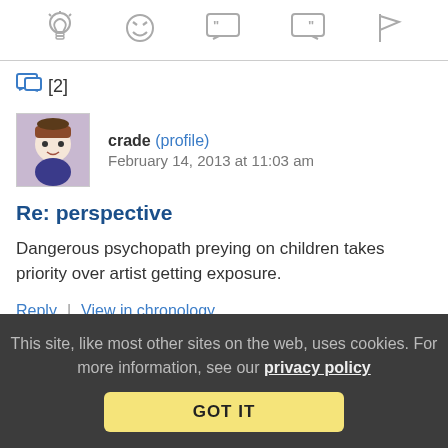[Figure (other): Toolbar with icons: lightbulb, laughing face, open-quote speech bubble, close-quote speech bubble, flag]
[2]
[Figure (illustration): Avatar: cartoon girl with hat]
crade (profile)   February 14, 2013 at 11:03 am
Re: perspective
Dangerous psychopath preying on children takes priority over artist getting exposure.
Reply | View in chronology
This site, like most other sites on the web, uses cookies. For more information, see our privacy policy
GOT IT